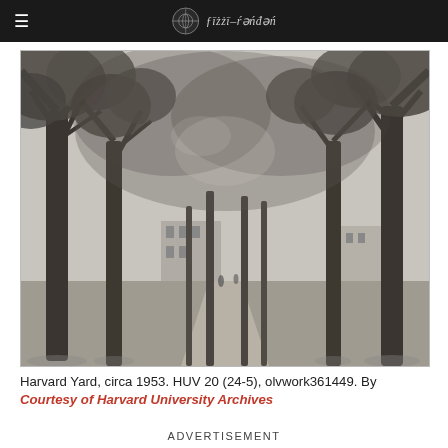≡  [logo] [signature]
[Figure (photo): Black and white photograph of Harvard Yard circa 1953, showing a tree-lined path with large leafy trees arching overhead, buildings visible in the background, and people walking in the distance.]
Harvard Yard, circa 1953. HUV 20 (24-5), olvwork361449. By Courtesy of Harvard University Archives
ADVERTISEMENT